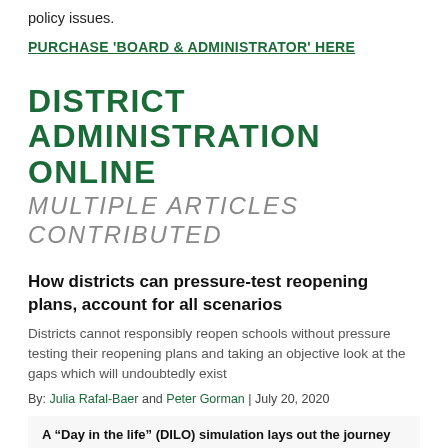policy issues.
PURCHASE 'BOARD & ADMINISTRATOR' HERE
DISTRICT ADMINISTRATION ONLINE
MULTIPLE ARTICLES CONTRIBUTED
How districts can pressure-test reopening plans, account for all scenarios
Districts cannot responsibly reopen schools without pressure testing their reopening plans and taking an objective look at the gaps which will undoubtedly exist
By: Julia Rafal-Baer and Peter Gorman | July 20, 2020
A “Day in the life” (DILO) simulation lays out the journey of an individual through the school day, and can help districts pressure-test their plan